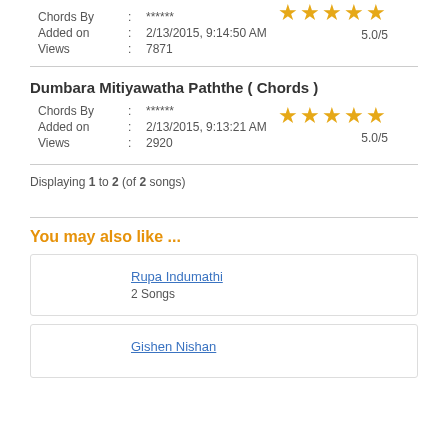Chords By : ******
Added on : 2/13/2015, 9:14:50 AM
Views : 7871
[Figure (other): 5 orange stars rating, 5.0/5]
Dumbara Mitiyawatha Paththe ( Chords )
Chords By : ******
Added on : 2/13/2015, 9:13:21 AM
Views : 2920
[Figure (other): 5 orange stars rating, 5.0/5]
Displaying 1 to 2 (of 2 songs)
You may also like ...
Rupa Indumathi
2 Songs
Gishen Nishan